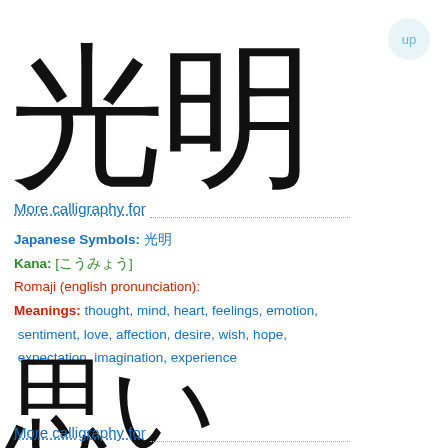[Figure (illustration): Large calligraphy of Japanese kanji characters 光明 (light/brightness) in black brush strokes]
More calligraphy for
Japanese Symbols: 光明
Kana: [こうみょう]
Romaji (english pronunciation):
Meanings: thought, mind, heart, feelings, emotion, sentiment, love, affection, desire, wish, hope, expectation, imagination, experience
[Figure (illustration): Large calligraphy of Japanese characters 思い (omoi/thought/feeling) in black brush strokes]
More calligraphy for